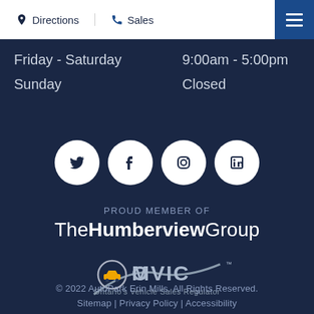Directions | Sales
Friday - Saturday    9:00am - 5:00pm
Sunday    Closed
[Figure (other): Social media icons: Twitter, Facebook, Instagram, LinkedIn — white circles on dark navy background]
PROUD MEMBER OF
TheHumberviewGroup
[Figure (logo): OMVIC logo — Ontario's Vehicle Sales Regulator]
© 2022 AutoPark Erin Mills. All Rights Reserved.
Sitemap | Privacy Policy | Accessibility